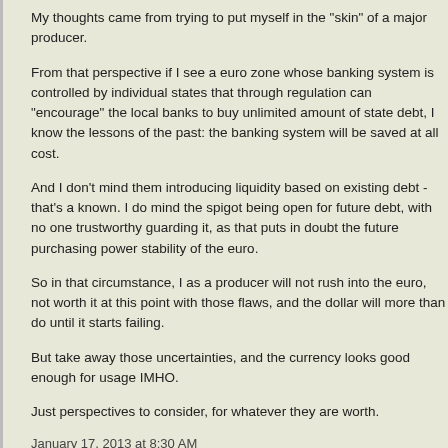My thoughts came from trying to put myself in the "skin" of a major producer.
From that perspective if I see a euro zone whose banking system is controlled by individual states that through regulation can "encourage" the local banks to buy unlimited amount of state debt, I know the lessons of the past: the banking system will be saved at all cost.
And I don't mind them introducing liquidity based on existing debt - that's a known. I do mind the spigot being open for future debt, with no one trustworthy guarding it, as that puts in doubt the future purchasing power stability of the euro.
So in that circumstance, I as a producer will not rush into the euro, not worth it at this point with those flaws, and the dollar will more than do until it starts failing.
But take away those uncertainties, and the currency looks good enough for usage IMHO.
Just perspectives to consider, for whatever they are worth.
January 17, 2013 at 8:30 AM